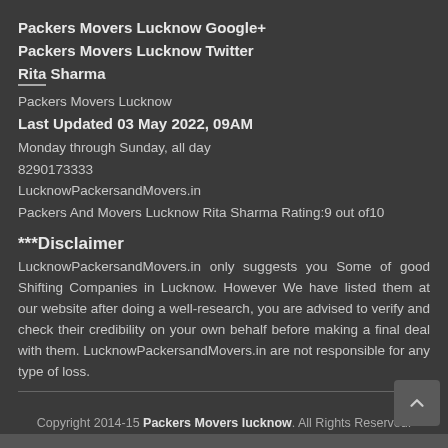Packers Movers Lucknow Google+
Packers Movers Lucknow Twitter
Rita Sharma
Packers Movers Lucknow
Last Updated 03 May 2022, 09AM
Monday through Sunday, all day
8290173333
LucknowPackersandMovers.in
Packers And Movers Lucknow Rita Sharma Rating:9 out of10
***Disclaimer
LucknowPackersandMovers.in only suggests you Some of good Shifting Companies in Lucknow. However We have listed them at our website after doing a well-research, you are advised to verify and check their credibility on your own behalf before making a final deal with them. LucknowPackersandMovers.in are not responsible for any type of loss.
Copyright 2014-15 Packers Movers lucknow. All Rights Reserved.